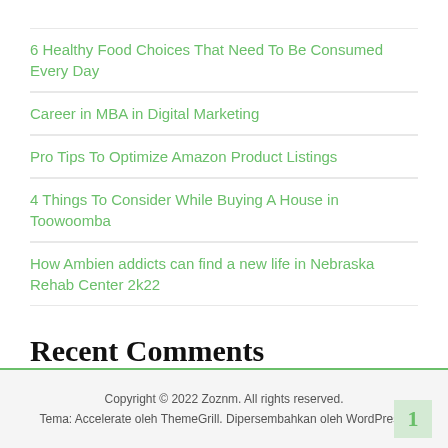6 Healthy Food Choices That Need To Be Consumed Every Day
Career in MBA in Digital Marketing
Pro Tips To Optimize Amazon Product Listings
4 Things To Consider While Buying A House in Toowoomba
How Ambien addicts can find a new life in Nebraska Rehab Center 2k22
Recent Comments
Tidak ada komentar untuk ditampilkan.
Copyright © 2022 Zoznm. All rights reserved.
Tema: Accelerate oleh ThemeGrill. Dipersembahkan oleh WordPress.